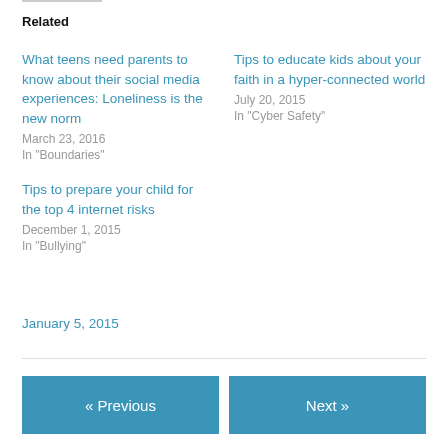Related
What teens need parents to know about their social media experiences: Loneliness is the new norm
March 23, 2016
In "Boundaries"
Tips to educate kids about your faith in a hyper-connected world
July 20, 2015
In "Cyber Safety"
Tips to prepare your child for the top 4 internet risks
December 1, 2015
In "Bullying"
January 5, 2015
« Previous
Next »